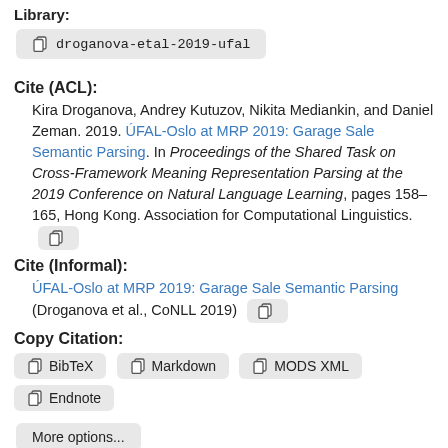droganova-etal-2019-ufal
Cite (ACL):
Kira Droganova, Andrey Kutuzov, Nikita Mediankin, and Daniel Zeman. 2019. ÚFAL-Oslo at MRP 2019: Garage Sale Semantic Parsing. In Proceedings of the Shared Task on Cross-Framework Meaning Representation Parsing at the 2019 Conference on Natural Language Learning, pages 158–165, Hong Kong. Association for Computational Linguistics.
Cite (Informal):
ÚFAL-Oslo at MRP 2019: Garage Sale Semantic Parsing (Droganova et al., CoNLL 2019)
Copy Citation:
BibTeX
Markdown
MODS XML
Endnote
More options...